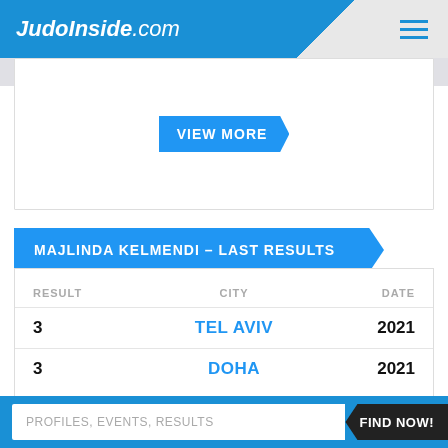JudoInside.com
VIEW MORE
MAJLINDA KELMENDI – LAST RESULTS
| RESULT | CITY | DATE |
| --- | --- | --- |
| 3 | TEL AVIV | 2021 |
| 3 | DOHA | 2021 |
PROFILES, EVENTS, RESULTS   FIND NOW!